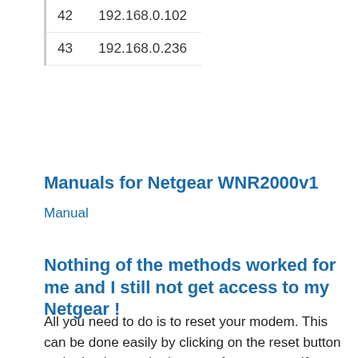| 42 | 192.168.0.102 |
| 43 | 192.168.0.236 |
Manuals for Netgear WNR2000v1
Manual
Nothing of the methods worked for me and I still not get access to my Netgear !
All you need to do is to reset your modem. This can be done easily by clicking on the reset button at the back or at the bottom of your router. If you hold down this small button for approximately 20 seconds, (you